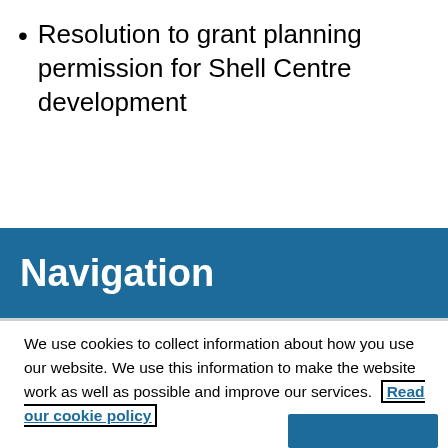Resolution to grant planning permission for Shell Centre development
Navigation
We use cookies to collect information about how you use our website. We use this information to make the website work as well as possible and improve our services.  Read our cookie policy